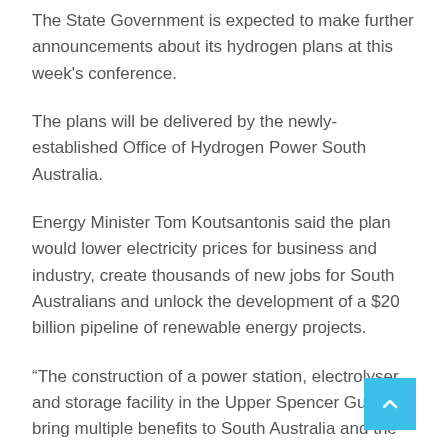The State Government is expected to make further announcements about its hydrogen plans at this week's conference.
The plans will be delivered by the newly-established Office of Hydrogen Power South Australia.
Energy Minister Tom Koutsantonis said the plan would lower electricity prices for business and industry, create thousands of new jobs for South Australians and unlock the development of a $20 billion pipeline of renewable energy projects.
“The construction of a power station, electrolyser and storage facility in the Upper Spencer Gulf will bring multiple benefits to South Australia and the National Energy Market,” he said.
“We are well on our way to delivering this important election commitment, having appointed Sam